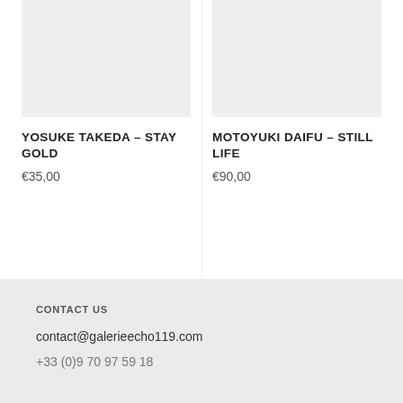[Figure (photo): Product image placeholder for Yosuke Takeda – Stay Gold (light grey rectangle)]
YOSUKE TAKEDA – STAY GOLD
€35,00
[Figure (photo): Product image placeholder for Motoyuki Daifu – Still Life (light grey rectangle)]
MOTOYUKI DAIFU – STILL LIFE
€90,00
CONTACT US
contact@galerieecho119.com
+33 (0)9 70 97 59 18